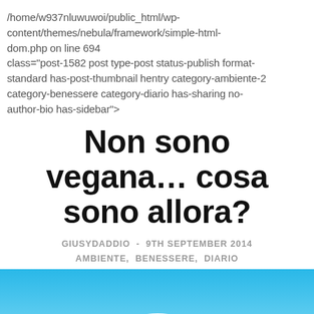/home/w937nluwuwoi/public_html/wp-content/themes/nebula/framework/simple-html-dom.php on line 694
class="post-1582 post type-post status-publish format-standard has-post-thumbnail hentry category-ambiente-2 category-benessere category-diario has-sharing no-author-bio has-sidebar">
Non sono vegana… cosa sono allora?
GIUSYDADDIO  -  9TH SEPTEMBER 2014
AMBIENTE,  BENESSERE,  DIARIO
[Figure (photo): Sky with white clouds, light blue background, bottom portion of the page]